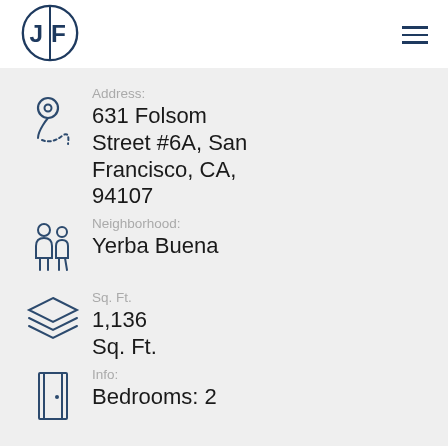[Figure (logo): JF circular logo in dark navy blue]
[Figure (other): Hamburger menu icon (three horizontal lines)]
Address:
[Figure (illustration): Location pin with dotted path icon]
631 Folsom Street #6A, San Francisco, CA, 94107
Neighborhood:
[Figure (illustration): People/neighborhood icon showing two figures standing together]
Yerba Buena
Sq. Ft.
[Figure (illustration): Stacked layers icon]
1,136 Sq. Ft.
Info:
[Figure (illustration): Door/room icon]
Bedrooms: 2